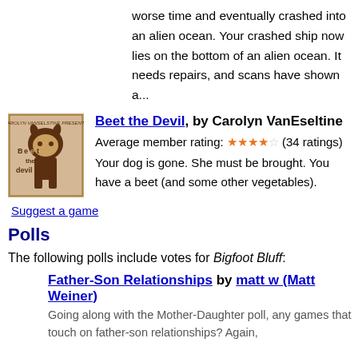worse time and eventually crashed into an alien ocean. Your crashed ship now lies on the bottom of an alien ocean. It needs repairs, and scans have shown a...
[Figure (illustration): Book cover for 'Beet the Devil' showing a cartoon devil character with horns and a beet, drawn in brown tones on tan background]
Beet the Devil, by Carolyn VanEseltine
Average member rating: ★★★★☆ (34 ratings)
Your dog is gone. She must be brought. You have a beet (and some other vegetables).
Suggest a game
Polls
The following polls include votes for Bigfoot Bluff:
Father-Son Relationships by matt w (Matt Weiner)
Going along with the Mother-Daughter poll, any games that touch on father-son relationships? Again,